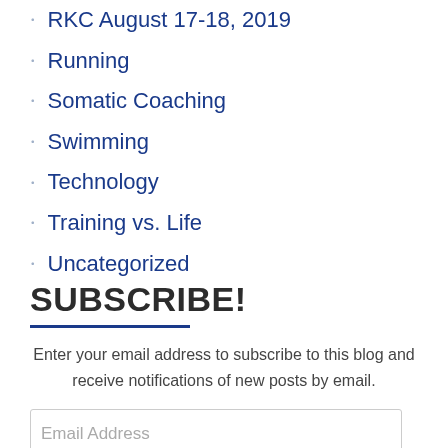RKC August 17-18, 2019
Running
Somatic Coaching
Swimming
Technology
Training vs. Life
Uncategorized
SUBSCRIBE!
Enter your email address to subscribe to this blog and receive notifications of new posts by email.
Email Address